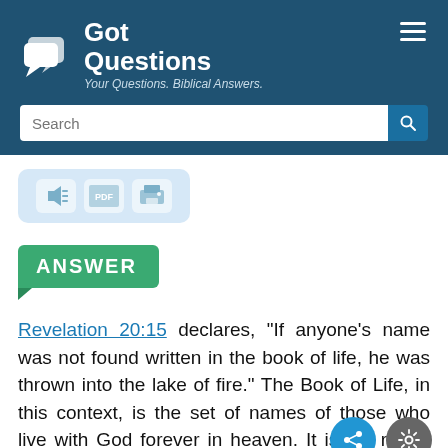[Figure (logo): GotQuestions logo with speech bubble icons and tagline 'Your Questions. Biblical Answers.']
[Figure (screenshot): Search bar with text 'Search' and a search button]
[Figure (infographic): Toolbar with audio, PDF, and print buttons]
ANSWER
Revelation 20:15 declares, “If anyone’s name was not found written in the book of life, he was thrown into the lake of fire.” The Book of Life, in this context, is the set of names of those who live with God forever in heaven. It is the roll of those